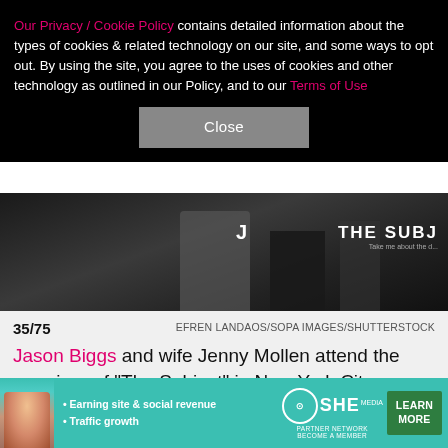Our Privacy / Cookie Policy contains detailed information about the types of cookies & related technology on our site, and some ways to opt out. By using the site, you agree to the uses of cookies and other technology as outlined in our Policy, and to our Terms of Use
[Figure (photo): Dark background photo from 'The Subject' premiere event, with 'THE SUBJ' text visible on the right side.]
35/75    EFREN LANDAOS/SOPA IMAGES/SHUTTERSTOCK
Jason Biggs and wife Jenny Mollen attend the premiere of "The Subject" in New York City on Oct. 19, 2021.
[Figure (photo): Partial screenshot of next photo showing a light blue background with a raised hand silhouette, and an X close button.]
[Figure (infographic): SHE Partner Network advertisement banner with woman's photo, bullet points 'Earning site & social revenue' and 'Traffic growth', SHE logo, and 'LEARN MORE' button.]